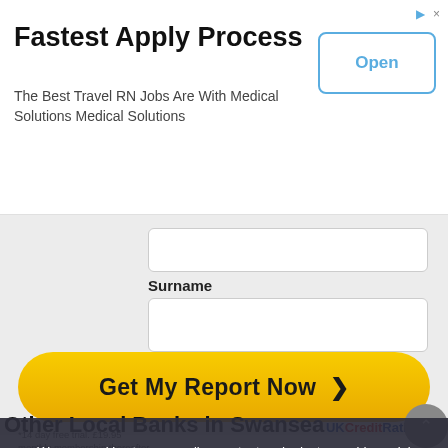[Figure (screenshot): Advertisement banner: 'Fastest Apply Process' for Medical Solutions Travel RN Jobs with Open button]
Surname
Email Address
Get My Report Now >
*14 day free trial. £19.95 monthly membership thereafter
We use cookies to personalise content and ads, to provide social media features and to analyse our traffic. More details can be found in our privacy policy.
Do not show this message again
Other Local Banks in Swansea